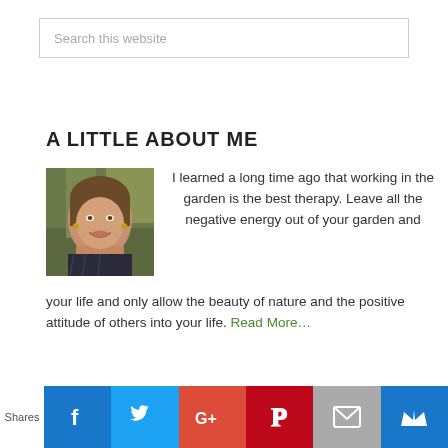Search this website
A LITTLE ABOUT ME
[Figure (photo): Headshot photo of a smiling woman with brown hair wearing a dark patterned top and earrings, against a blurred outdoor background.]
I learned a long time ago that working in the garden is the best therapy. Leave all the negative energy out of your garden and your life and only allow the beauty of nature and the positive attitude of others into your life. Read More…
Shares [Facebook] [Twitter] [Google+] [Pinterest] [Email] [Other]